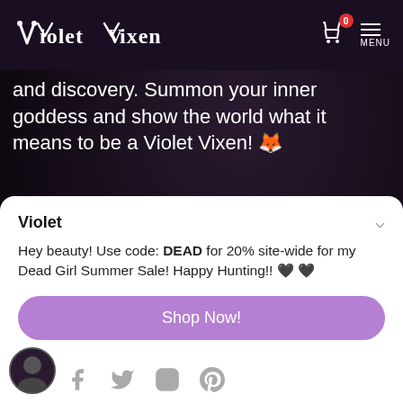Violet Vixen — navigation header with cart (0) and menu
and discovery. Summon your inner goddess and show the world what it means to be a Violet Vixen! 🦊
📧  3005 S. Lamar Blvd. Unit D109-414, Austin, TX 78704
🏢  4809 S Congress Ave Unit B-100, Austin, TX 78745
Violet
Hey beauty! Use code: DEAD for 20% site-wide for my Dead Girl Summer Sale! Happy Hunting!! 🖤 🖤
Shop Now!